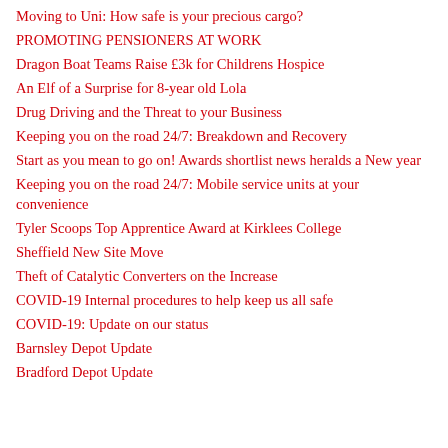Moving to Uni: How safe is your precious cargo?
PROMOTING PENSIONERS AT WORK
Dragon Boat Teams Raise £3k for Childrens Hospice
An Elf of a Surprise for 8-year old Lola
Drug Driving and the Threat to your Business
Keeping you on the road 24/7: Breakdown and Recovery
Start as you mean to go on! Awards shortlist news heralds a New year
Keeping you on the road 24/7: Mobile service units at your convenience
Tyler Scoops Top Apprentice Award at Kirklees College
Sheffield New Site Move
Theft of Catalytic Converters on the Increase
COVID-19 Internal procedures to help keep us all safe
COVID-19: Update on our status
Barnsley Depot Update
Bradford Depot Update